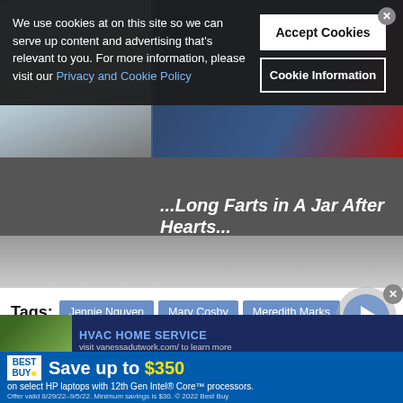[Figure (screenshot): Hero image area with article thumbnail and overlaid text reading 'Farts in A Jar After Hearts']
We use cookies at on this site so we can serve up content and advertising that's relevant to you. For more information, please visit our Privacy and Cookie Policy
Accept Cookies
Cookie Information
Tags: Jennie Nguyen  Mary Cosby  Meredith Marks  real housewives  Real Housewives of Salt Lake City  RHOSLC
SHARE
TWEET
HVAC HOME SERVICE
visit vanessadutwork.com/ to learn more
Save up to $350
on select HP laptops with 12th Gen Intel® Core™ processors.
Offer valid 8/29/22–9/5/22. Minimum savings is $30. © 2022 Best Buy